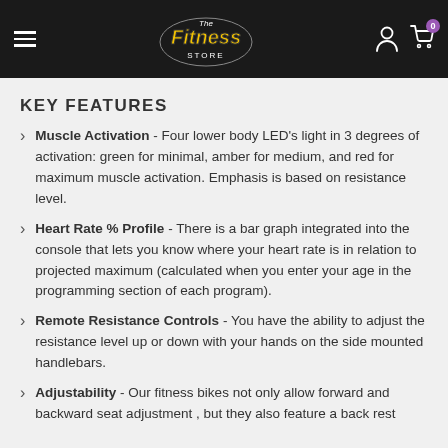The Fitness Store
KEY FEATURES
Muscle Activation - Four lower body LED’s light in 3 degrees of activation: green for minimal, amber for medium, and red for maximum muscle activation. Emphasis is based on resistance level.
Heart Rate % Profile - There is a bar graph integrated into the console that lets you know where your heart rate is in relation to projected maximum (calculated when you enter your age in the programming section of each program).
Remote Resistance Controls - You have the ability to adjust the resistance level up or down with your hands on the side mounted handlebars.
Adjustability - Our fitness bikes not only allow forward and backward seat adjustment , but they also feature a back rest